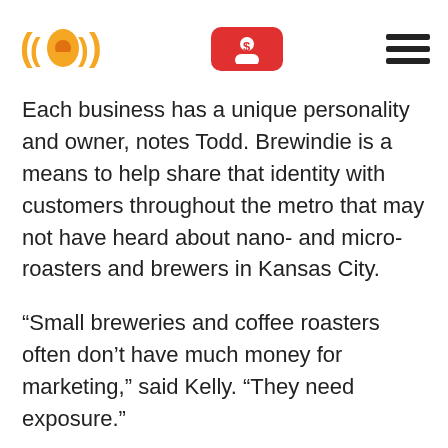[Brewindie logo and navigation]
Each business has a unique personality and owner, notes Todd. Brewindie is a means to help share that identity with customers throughout the metro that may not have heard about nano- and micro-roasters and brewers in Kansas City.
“Small breweries and coffee roasters often don’t have much money for marketing,” said Kelly. “They need exposure.”
The subscription box is the first phase of the Brewindie business. The Waldens intend to build an app for smartphones and handheld devices. The app ties into a database that tracks customer…